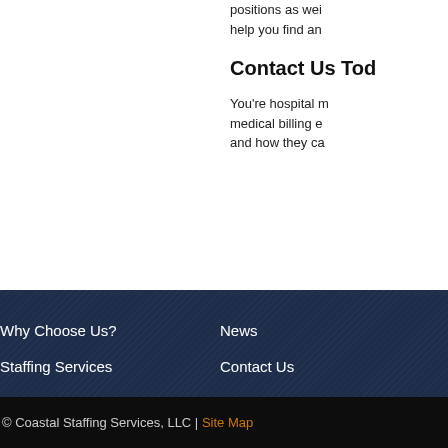positions as well help you find and
Contact Us Tod
You're hospital m medical billing e and how they ca
Why Choose Us?
Staffing Services
Available Jobs
FAQs
News
Contact Us
Nederland, Tx Staffing
Beaumont, Tx Staffing
© Coastal Staffing Services, LLC | Site Map